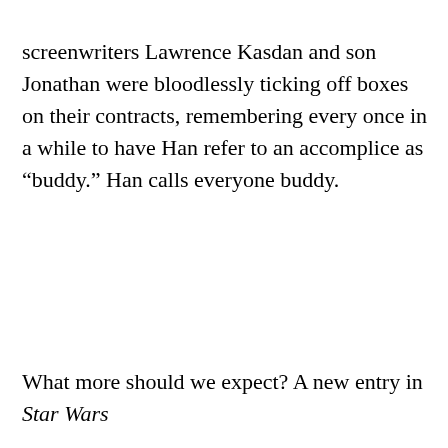screenwriters Lawrence Kasdan and son Jonathan were bloodlessly ticking off boxes on their contracts, remembering every once in a while to have Han refer to an accomplice as “buddy.” Han calls everyone buddy.
What more should we expect? A new entry in Star Wars